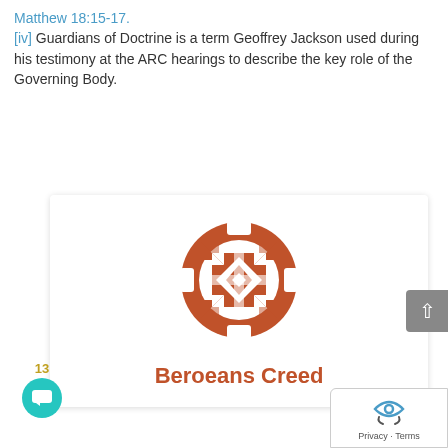Matthew 18:15-17. [iv] Guardians of Doctrine is a term Geoffrey Jackson used during his testimony at the ARC hearings to describe the key role of the Governing Body.
[Figure (logo): Beroeans Creed logo: a circular geometric pattern in terracotta/rust red color with a quilted diamond and cross motif inside a circle, with notched edges]
Beroeans Creed